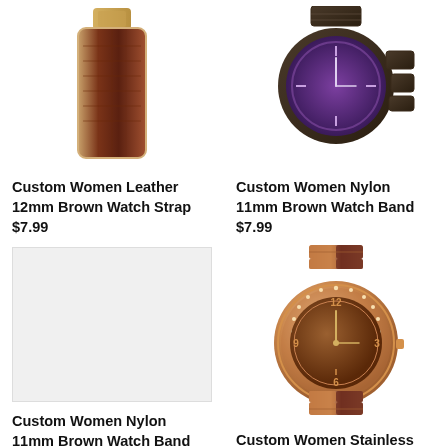[Figure (photo): Custom Women Leather 12mm Brown Watch Strap - partial view of brown crocodile leather strap with gold buckle]
Custom Women Leather 12mm Brown Watch Strap
$7.99
[Figure (photo): Custom Women Nylon 11mm Brown Watch Band - dark brown/black watch with purple dial on metal bracelet]
Custom Women Nylon 11mm Brown Watch Band
$7.99
[Figure (photo): Blank/placeholder image - light gray background]
Custom Women Nylon 11mm Brown Watch Band
[Figure (photo): Custom Women Stainless Steel 18mm Brown Watch - rose gold and brown two-tone women's watch with crystal bezel and brown dial]
Custom Women Stainless Steel 18mm Brown Watch